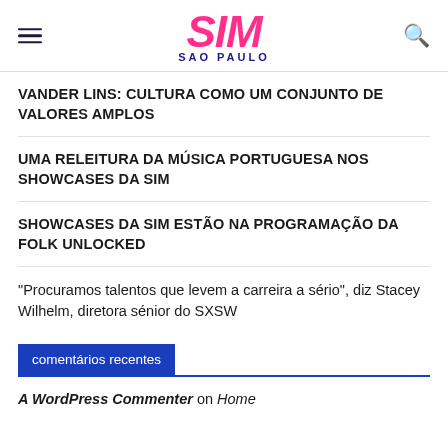SIM SAO PAULO
VANDER LINS: CULTURA COMO UM CONJUNTO DE VALORES AMPLOS
UMA RELEITURA DA MÚSICA PORTUGUESA NOS SHOWCASES DA SIM
SHOWCASES DA SIM ESTÃO NA PROGRAMAÇÃO DA FOLK UNLOCKED
"Procuramos talentos que levem a carreira a sério", diz Stacey Wilhelm, diretora sénior do SXSW
comentários recentes
A WordPress Commenter on Home